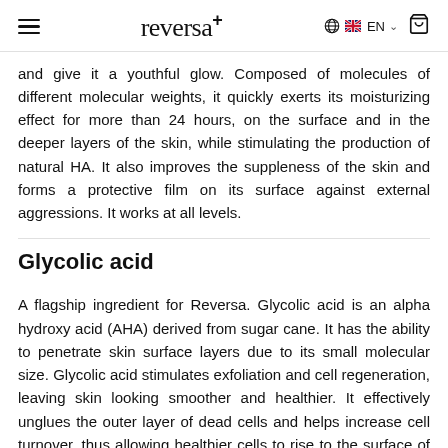reversa+ EN
and give it a youthful glow. Composed of molecules of different molecular weights, it quickly exerts its moisturizing effect for more than 24 hours, on the surface and in the deeper layers of the skin, while stimulating the production of natural HA. It also improves the suppleness of the skin and forms a protective film on its surface against external aggressions. It works at all levels.
Glycolic acid
A flagship ingredient for Reversa. Glycolic acid is an alpha hydroxy acid (AHA) derived from sugar cane. It has the ability to penetrate skin surface layers due to its small molecular size. Glycolic acid stimulates exfoliation and cell regeneration, leaving skin looking smoother and healthier. It effectively unglues the outer layer of dead cells and helps increase cell turnover, thus allowing healthier cells to rise to the surface of the skin more quickly than they would normally. Using glycolic acid will bring